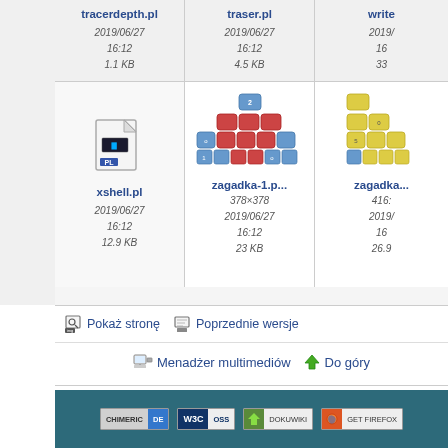[Figure (screenshot): File browser grid showing files: tracerdepth.pl, traser.pl, write... (partial), xshell.pl, zagadka-1.p..., zagadka... (partial). Each cell shows filename, date 2019/06/27 16:12, and file size.]
tracerdepth.pl
2019/06/27
16:12
1.1 KB
traser.pl
2019/06/27
16:12
4.5 KB
write
2019/
16
33
xshell.pl
2019/06/27
16:12
12.9 KB
zagadka-1.p...
378×378
2019/06/27
16:12
23 KB
zagadka...
416:
2019/
16
26.9
Pokaż stronę
Poprzednie wersje
Menadżer multimediów
Do góry
[Figure (screenshot): Footer banner with dark teal background containing badge icons: CHIMERIC DE, W3C OSS, DokuWiki, GET FIREFOX]